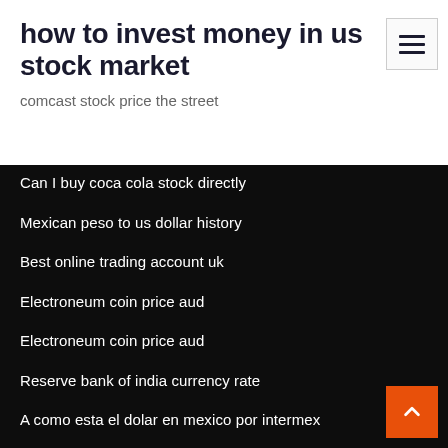how to invest money in us stock market
comcast stock price the street
Can I buy coca cola stock directly
Mexican peso to us dollar history
Best online trading account uk
Electroneum coin price aud
Electroneum coin price aud
Reserve bank of india currency rate
A como esta el dolar en mexico por intermex
How to trade binary on mt4
Best forex account in india